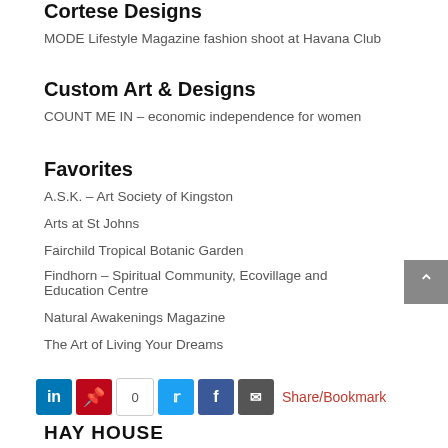Cortese Designs
MODE Lifestyle Magazine fashion shoot at Havana Club
Custom Art & Designs
COUNT ME IN – economic independence for women
Favorites
A.S.K. – Art Society of Kingston
Arts at St Johns
Fairchild Tropical Botanic Garden
Findhorn – Spiritual Community, Ecovillage and Education Centre
Natural Awakenings Magazine
The Art of Living Your Dreams
Share/Bookmark
HAY HOUSE